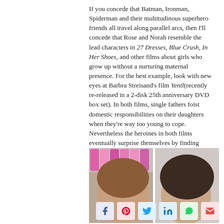If you concede that Batman, Ironman, Spiderman and their multitudinous superhero friends all travel along parallel arcs, then I'll concede that Rose and Norah resemble the lead characters in 27 Dresses, Blue Crush, In Her Shoes, and other films about girls who grow up without a nurturing maternal presence. For the best example, look with new eyes at Barbra Streisand's film Yentl(recently re-released in a 2-disk 25th anniversary DVD box set). In both films, single fathers foist domestic responsibilities on their daughters when they're way too young to cope. Nevertheless the heroines in both films eventually surprise themselves by finding genuine satisfaction in care-giving.
[Figure (photo): Two women photographed in a store setting with pink bottles visible in the background on the left side. Left woman has auburn/brown hair, right woman has dark brown hair.]
[Figure (infographic): Social media sharing buttons: Facebook (blue), Pinterest (red/pink), Twitter (light blue), LinkedIn (blue), WhatsApp (green), Email (pink/red)]